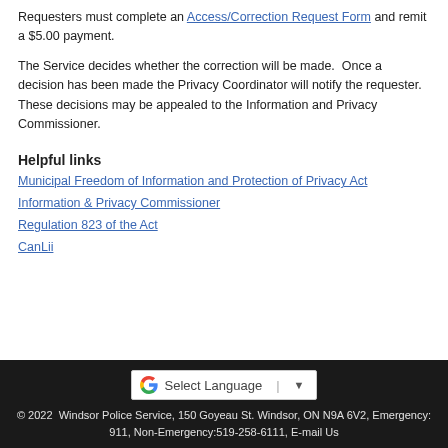Requesters must complete an Access/Correction Request Form and remit a $5.00 payment.
The Service decides whether the correction will be made.  Once a decision has been made the Privacy Coordinator will notify the requester.  These decisions may be appealed to the Information and Privacy Commissioner.
Helpful links
Municipal Freedom of Information and Protection of Privacy Act
Information & Privacy Commissioner
Regulation 823 of the Act
CanLii
© 2022  Windsor Police Service, 150 Goyeau St. Windsor, ON N9A 6V2, Emergency: 911, Non-Emergency:519-258-6111, E-mail Us